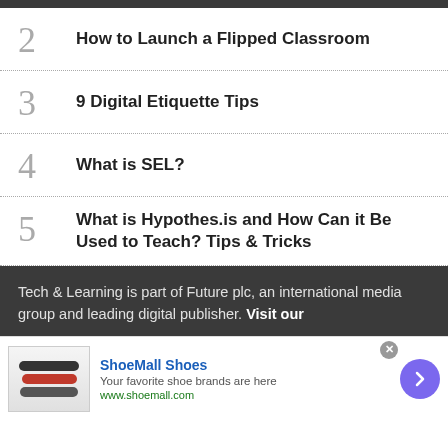2 How to Launch a Flipped Classroom
3 9 Digital Etiquette Tips
4 What is SEL?
5 What is Hypothes.is and How Can it Be Used to Teach? Tips & Tricks
Tech & Learning is part of Future plc, an international media group and leading digital publisher. Visit our
ShoeMall Shoes
Your favorite shoe brands are here
www.shoemall.com